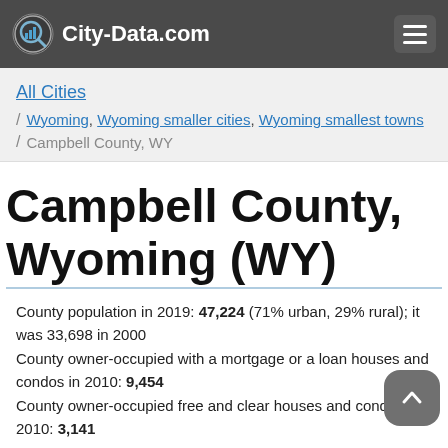City-Data.com
All Cities
/ Wyoming, Wyoming smaller cities, Wyoming smallest towns
/ Campbell County, WY
Campbell County, Wyoming (WY)
County population in 2019: 47,224 (71% urban, 29% rural); it was 33,698 in 2000
County owner-occupied with a mortgage or a loan houses and condos in 2010: 9,454
County owner-occupied free and clear houses and condos in 2010: 3,141